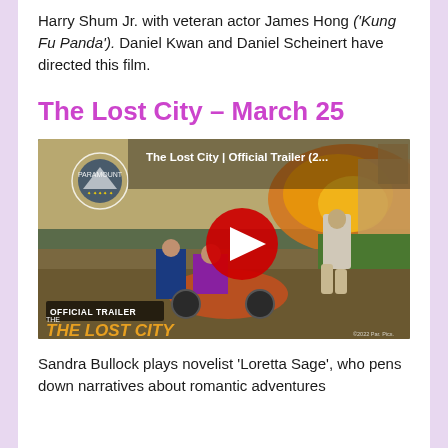Harry Shum Jr. with veteran actor James Hong ('Kung Fu Panda'). Daniel Kwan and Daniel Scheinert have directed this film.
The Lost City – March 25
[Figure (screenshot): YouTube video thumbnail for 'The Lost City | Official Trailer (2...' showing action scene with people running, explosion in background, Paramount logo, OFFICIAL TRAILER label and THE LOST CITY title, with red YouTube play button overlay.]
Sandra Bullock plays novelist 'Loretta Sage', who pens down narratives about romantic adventures